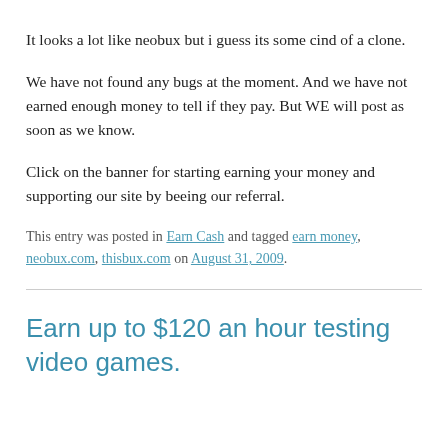It looks a lot like neobux but i guess its some cind of a clone.
We have not found any bugs at the moment. And we have not earned enough money to tell if they pay. But WE will post as soon as we know.
Click on the banner for starting earning your money and supporting our site by beeing our referral.
This entry was posted in Earn Cash and tagged earn money, neobux.com, thisbux.com on August 31, 2009.
Earn up to $120 an hour testing video games.